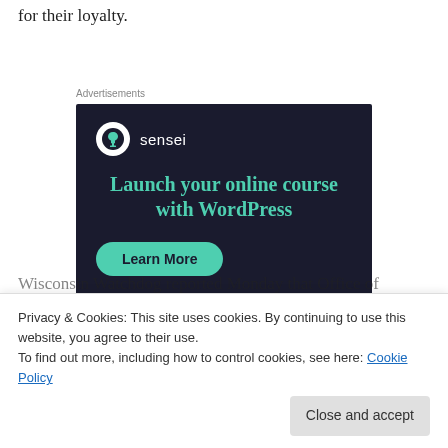for their loyalty.
Advertisements
[Figure (other): Sensei advertisement banner with dark navy background. Shows Sensei logo (tree icon in white circle) with 'sensei' text, headline 'Launch your online course with WordPress' in teal, and a 'Learn More' teal button.]
Privacy & Cookies: This site uses cookies. By continuing to use this website, you agree to their use.
To find out more, including how to control cookies, see here: Cookie Policy
Wisconsin Watchdog reported Monday that Office of